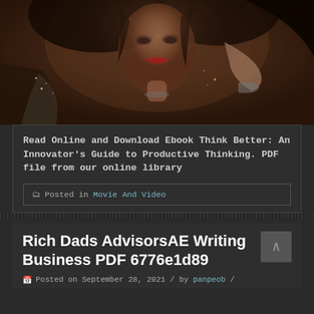[Figure (photo): A glamorous woman with dark hair, red lips, wearing sparkly/sequined clothing, posing with hand near face, dark background]
Read Online and Download Ebook Think Better: An Innovator's Guide to Productive Thinking. PDF file from our online library
Posted in Movie And Video
Rich Dads AdvisorsAE Writing Business PDF 6776e1d89
Posted on September 28, 2021 / by panpeob /